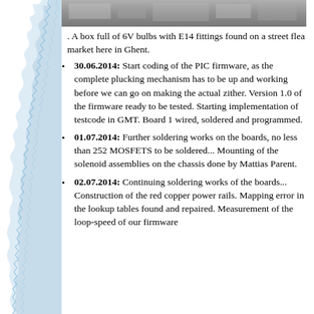[Figure (photo): Grayscale photo strip at top of content area, appears to show hardware/electronic components]
. A box full of 6V bulbs with E14 fittings found on a street flea market here in Ghent.
30.06.2014: Start coding of the PIC firmware, as the complete plucking mechanism has to be up and working before we can go on making the actual zither. Version 1.0 of the firmware ready to be tested. Starting implementation of testcode in GMT. Board 1 wired, soldered and programmed.
01.07.2014: Further soldering works on the boards, no less than 252 MOSFETS to be soldered... Mounting of the solenoid assemblies on the chassis done by Mattias Parent.
02.07.2014: Continuing soldering works of the boards... Construction of the red copper power rails. Mapping error in the lookup tables found and repaired. Measurement of the loop-speed of our firmware